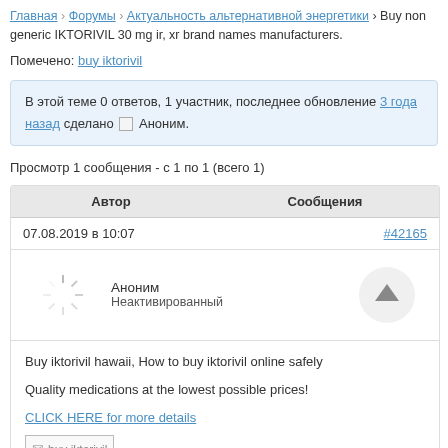Главная › Форумы › Актуальность альтернативной энергетики › Buy non generic IKTORIVIL 30 mg ir, xr brand names manufacturers.
Помечено: buy iktorivil
В этой теме 0 ответов, 1 участник, последнее обновление 3 года назад сделано Аноним.
Просмотр 1 сообщения - с 1 по 1 (всего 1)
| Автор | Сообщения |
| --- | --- |
| 07.08.2019 в 10:07 | #42165 |
| Аноним / Неактивированный |  |
Buy iktorivil hawaii, How to buy iktorivil online safely
Quality medications at the lowest possible prices!
CLICK HERE for more details
buy iktorivil